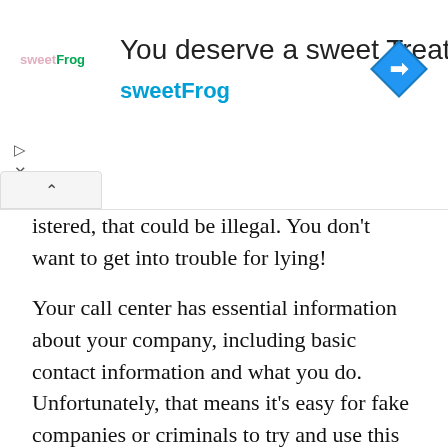[Figure (infographic): Advertisement banner for sweetFrog frozen yogurt. Shows sweetFrog logo on left, text 'You deserve a sweet Treat' and 'sweetFrog' in center, blue diamond navigation icon on right, with play and close controls, and a collapse arrow button at bottom left.]
istered, that could be illegal. You don't want to get into trouble for lying!
Your call center has essential information about your company, including basic contact information and what you do. Unfortunately, that means it's easy for fake companies or criminals to try and use this information against you if they find it online. So, make sure only authorized personnel can access sensitive data like your website, social media pages, or whatever else might give thieves an opening into your system.
Conclusion: